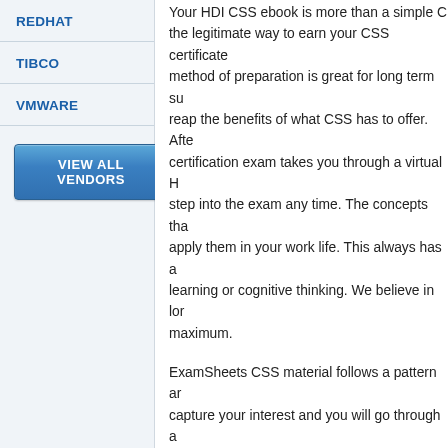REDHAT
TIBCO
VMWARE
VIEW ALL VENDORS
Your HDI CSS ebook is more than a simple CSS the legitimate way to earn your CSS certificate. method of preparation is great for long term su reap the benefits of what CSS has to offer. Afte certification exam takes you through a virtual H step into the exam any time. The concepts tha apply them in your work life. This always has a learning or cognitive thinking. We believe in lor maximum.
ExamSheets CSS material follows a pattern a capture your interest and you will go through a material is unlike any other material available expert in no time. We have seen hundreds and certainly guarantee you that your HDI CSS exa
We understand that there are many options av closer look it becomes clear that ExamSheets compared to what you would experience on int you to bring to us a more updated, precise, ac
Unlike our competitor selling CSS guides, dum questions and answers and that is why we beli need is a couple of days and an ExamSheets a